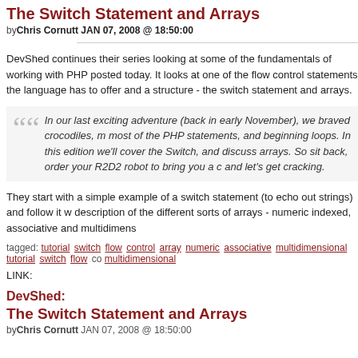The Switch Statement and Arrays
byChris Cornutt JAN 07, 2008 @ 18:50:00
DevShed continues their series looking at some of the fundamentals of working with PHP posted today. It looks at one of the flow control statements the language has to offer and a structure - the switch statement and arrays.
In our last exciting adventure (back in early November), we braved crocodiles, m most of the PHP statements, and beginning loops. In this edition we'll cover the Switch, and discuss arrays. So sit back, order your R2D2 robot to bring you a c and let's get cracking.
They start with a simple example of a switch statement (to echo out strings) and follow it w description of the different sorts of arrays - numeric indexed, associative and multidimens
tagged: tutorial switch flow control array numeric associative multidimensional tutorial switch flow co multidimensional
LINK:
DevShed:
The Switch Statement and Arrays
byChris Cornutt JAN 07, 2008 @ 18:50:00